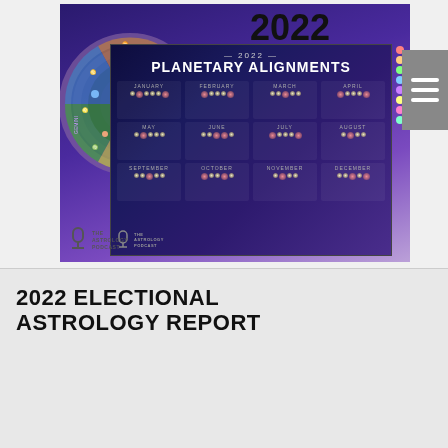[Figure (illustration): 2022 Astrology Calendar Posters product image showing a zodiac wheel poster overlapping with a 2022 Planetary Alignments calendar poster, with The Astrology Podcast logo]
2022 ELECTIONAL ASTROLOGY REPORT
[Figure (illustration): Book or report cover image for '2022 Electional Astrology Report' by Leisa Schaim, with teal astronomical/clock artwork on a dark blue background]